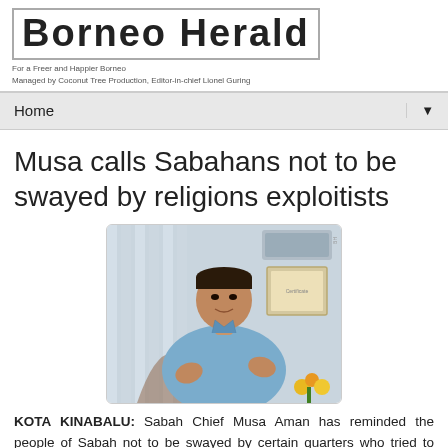Borneo Herald
For a Freer and Happier Borneo
Managed by Coconut Tree Production, Editor-in-chief Lionel Guring
Home
Musa calls Sabahans not to be swayed by religions exploitists
[Figure (photo): Photo of Sabah Chief Musa Aman seated, wearing a blue shirt, gesturing with his hands during an interview]
KOTA KINABALU: Sabah Chief Musa Aman has reminded the people of Sabah not to be swayed by certain quarters who tried to instigate them by using religion as a tool.